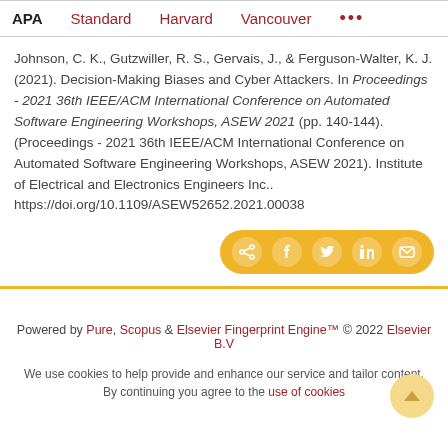APA | Standard | Harvard | Vancouver | ...
Johnson, C. K., Gutzwiller, R. S., Gervais, J., & Ferguson-Walter, K. J. (2021). Decision-Making Biases and Cyber Attackers. In Proceedings - 2021 36th IEEE/ACM International Conference on Automated Software Engineering Workshops, ASEW 2021 (pp. 140-144). (Proceedings - 2021 36th IEEE/ACM International Conference on Automated Software Engineering Workshops, ASEW 2021). Institute of Electrical and Electronics Engineers Inc.. https://doi.org/10.1109/ASEW52652.2021.00038
[Figure (other): Social share bar with icons for share, Facebook, Twitter, LinkedIn, and email on a golden/yellow background]
Powered by Pure, Scopus & Elsevier Fingerprint Engine™ © 2022 Elsevier B.V

We use cookies to help provide and enhance our service and tailor content. By continuing you agree to the use of cookies